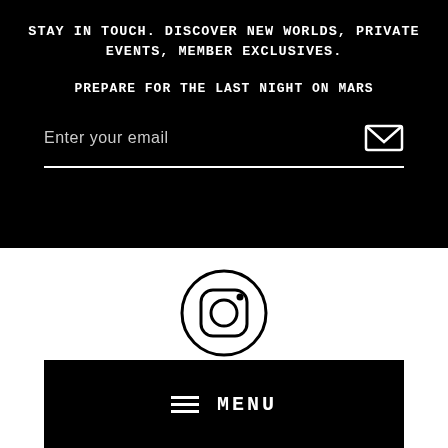STAY IN TOUCH. DISCOVER NEW WORLDS, PRIVATE EVENTS, MEMBER EXCLUSIVES.
PREPARE FOR THE LAST NIGHT ON MARS
Enter your email
[Figure (illustration): Instagram logo icon — circle with rounded square camera outline and dot]
≡ MENU